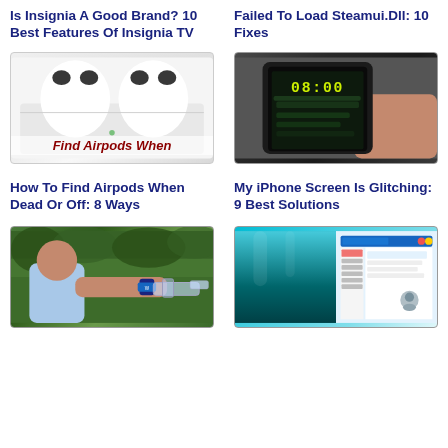Is Insignia A Good Brand? 10 Best Features Of Insignia TV
Failed To Load Steamui.Dll: 10 Fixes
[Figure (photo): AirPods Pro in their case with text overlay 'Find Airpods When']
[Figure (photo): Hand holding iPhone showing lock screen with time 08:00 and glitched green display]
How To Find Airpods When Dead Or Off: 8 Ways
My iPhone Screen Is Glitching: 9 Best Solutions
[Figure (photo): Man holding a toy gun with a watch on his wrist, outdoors with trees in background]
[Figure (screenshot): Split image showing an underwater background and a Windows desktop application screenshot]